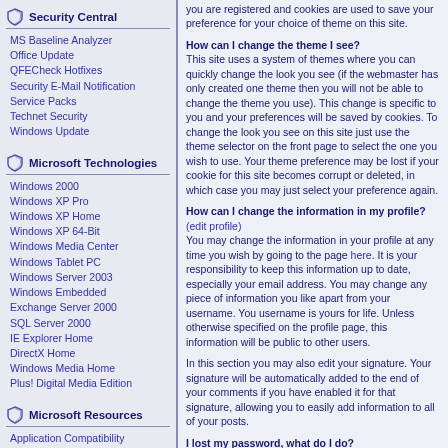Security Central
MS Baseline Analyzer
Office Update
QFECheck Hotfixes
Security E-Mail Notification
Service Packs
Technet Security
Windows Update
Microsoft Technologies
Windows 2000
Windows XP Pro
Windows XP Home
Windows XP 64-Bit
Windows Media Center
Windows Tablet PC
Windows Server 2003
Windows Embedded
Exchange Server 2000
SQL Server 2000
IE Explorer Home
DirectX Home
Windows Media Home
Plus! Digital Media Edition
Microsoft Resources
Application Compatibility
Baseline Security Analyzer
Cleartype Tuning
Help and Support
Messenger Server Status
Microsoft Feedback
Windows Catalog
Online Crash Analysis
WindowsUpdate
you are registered and cookies are used to save your preference for your choice of theme on this site.
How can I change the theme I see? This site uses a system of themes where you can quickly change the look you see (if the webmaster has only created one theme then you will not be able to change the theme you use). This change is specific to you and your preferences will be saved by cookies. To change the look you see on this site just use the theme selector on the front page to select the one you wish to use. Your theme preference may be lost if your cookie for this site becomes corrupt or deleted, in which case you may just select your preference again.
How can I change the information in my profile? (edit profile) You may change the information in your profile at any time you wish by going to the page here. It is your responsibility to keep this information up to date, especially your email address. You may change any piece of information you like apart from your username. You username is yours for life. Unless otherwise specified on the profile page, this information will be public to other users.
In this section you may also edit your signature. Your signature will be automatically added to the end of your comments if you have enabled it for that signature, allowing you to easily add information to all of your posts.
I lost my password, what do I do? If you loose your password at any time you may go to the page here where you can enter your username and details on resetting your password will be emailed to the address you have registered with this site. If for some reason